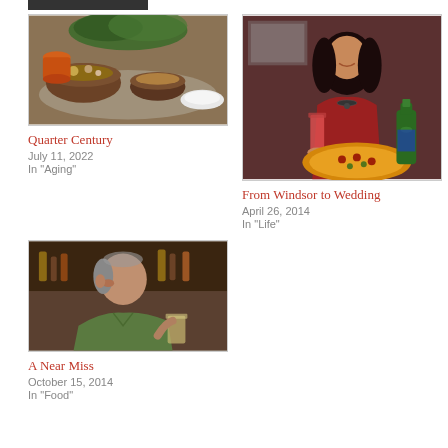[Figure (photo): Bowl of food/appetizers on a restaurant table]
Quarter Century
July 11, 2022
In "Aging"
[Figure (photo): Woman in red top holding a drink, with a pizza in front of her]
From Windsor to Wedding
April 26, 2014
In "Life"
[Figure (photo): Middle-aged man in green shirt at a restaurant]
A Near Miss
October 15, 2014
In "Food"